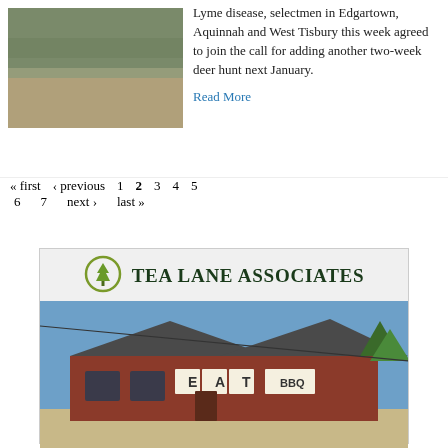[Figure (photo): Outdoor nature/field scene, partial view at top left]
Lyme disease, selectmen in Edgartown, Aquinnah and West Tisbury this week agreed to join the call for adding another two-week deer hunt next January.
Read More
« first  ‹ previous  1  2  3  4  5  6  7  next ›  last »
[Figure (logo): Tea Lane Associates logo with tree icon]
[Figure (photo): Photo of a brick building with EAT BBQ signage, blue sky background]